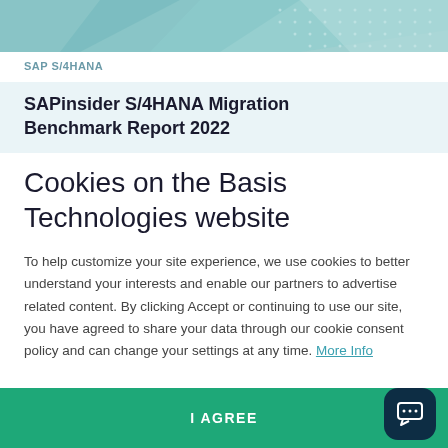[Figure (illustration): Teal/mint geometric pattern banner at the top of the page]
SAP S/4HANA
SAPinsider S/4HANA Migration Benchmark Report 2022
Cookies on the Basis Technologies website
To help customize your site experience, we use cookies to better understand your interests and enable our partners to advertise related content. By clicking Accept or continuing to use our site, you have agreed to share your data through our cookie consent policy and can change your settings at any time. More Info
I AGREE